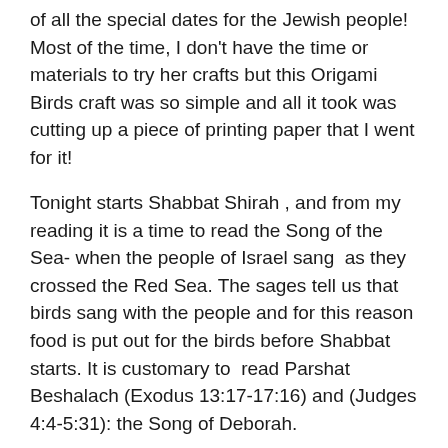of all the special dates for the Jewish people! Most of the time, I don't have the time or materials to try her crafts but this Origami Birds craft was so simple and all it took was cutting up a piece of printing paper that I went for it!
Tonight starts Shabbat Shirah , and from my reading it is a time to read the Song of the Sea- when the people of Israel sang  as they crossed the Red Sea. The sages tell us that birds sang with the people and for this reason food is put out for the birds before Shabbat starts. It is customary to  read Parshat Beshalach (Exodus 13:17-17:16) and (Judges 4:4-5:31): the Song of Deborah.
Of course, when I texted my OH about this coming up, he says, 'Yep'. Silly man, didn't tell me. =)
So, day two of being migraine-relegated-to-the-couch I thought I'd try my hand at folding these cute birds.